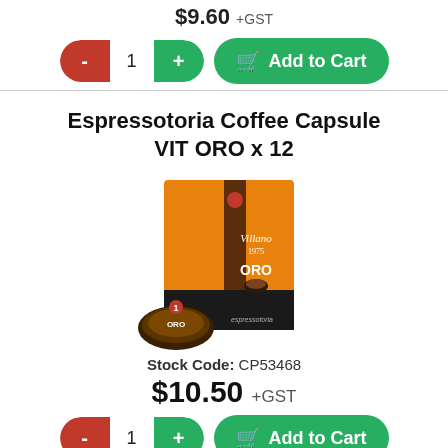$9.60 +GST
[Figure (screenshot): Quantity selector pill with red minus button, white field showing '1', green plus button, and a green 'Add to Cart' button with shopping cart icon]
Espressotoria Coffee Capsule VIT ORO x 12
[Figure (photo): Orange box of Espressotoria Coffee VIT ORO capsules with a single capsule in front, branded packaging]
Stock Code: CP53468
$10.50 +GST
[Figure (screenshot): Quantity selector pill with red minus button, white field showing '1', green plus button, and a green 'Add to Cart' button with shopping cart icon]